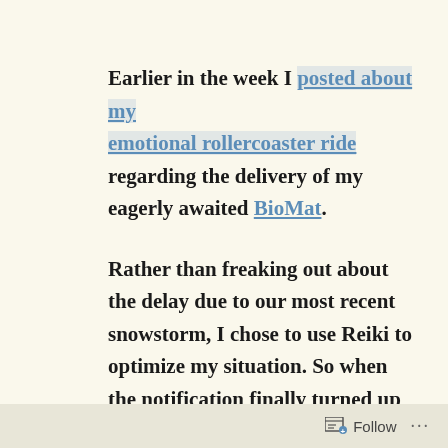Earlier in the week I posted about my emotional rollercoaster ride regarding the delivery of my eagerly awaited BioMat. Rather than freaking out about the delay due to our most recent snowstorm, I chose to use Reiki to optimize my situation. So when the notification finally turned up announcing the updated ETA on the (seemingly) worst
Follow ···